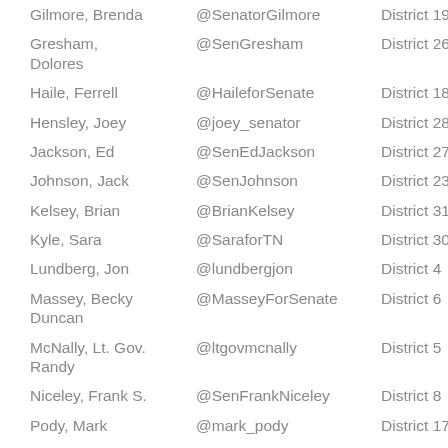| Name | Twitter Handle | District |
| --- | --- | --- |
| Gilmore, Brenda | @SenatorGilmore | District 19 |
| Gresham, Dolores | @SenGresham | District 26 |
| Haile, Ferrell | @HaileforSenate | District 18 |
| Hensley, Joey | @joey_senator | District 28 |
| Jackson, Ed | @SenEdJackson | District 27 |
| Johnson, Jack | @SenJohnson | District 23 |
| Kelsey, Brian | @BrianKelsey | District 31 |
| Kyle, Sara | @SaraforTN | District 30 |
| Lundberg, Jon | @lundbergjon | District 4 |
| Massey, Becky Duncan | @MasseyForSenate | District 6 |
| McNally, Lt. Gov. Randy | @ltgovmcnally | District 5 |
| Niceley, Frank S. | @SenFrankNiceley | District 8 |
| Pody, Mark | @mark_pody | District 17 |
| Powers, Bill | @BillPowersTN | District 22 |